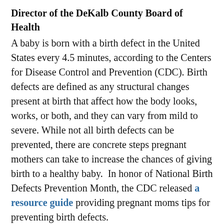Director of the DeKalb County Board of Health
A baby is born with a birth defect in the United States every 4.5 minutes, according to the Centers for Disease Control and Prevention (CDC). Birth defects are defined as any structural changes present at birth that affect how the body looks, works, or both, and they can vary from mild to severe. While not all birth defects can be prevented, there are concrete steps pregnant mothers can take to increase the chances of giving birth to a healthy baby.  In honor of National Birth Defects Prevention Month, the CDC released a resource guide providing pregnant moms tips for preventing birth defects.
In addition to guidance provided by CDC, many local public health departments provide prenatal care for expectant moms. Below is Q&A with National Association of County and City Health Officials (NACCHO) Board Member Dr. Sandra Elizabeth